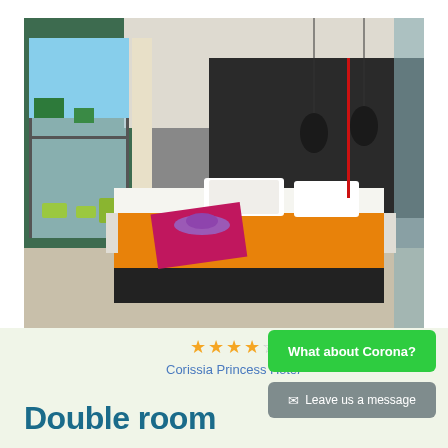[Figure (photo): Modern hotel double room with large double bed featuring orange bedspread and pink/magenta throw blanket, purple hat on bed, white pillows, dark accent wall behind bed, floor-to-ceiling glass windows/sliding doors opening to balcony with outdoor furniture and sea/garden view, pendant lights, tiled floor]
★★★★☆
Corissia Princess Hotel
Double room
What about Corona?
✉ Leave us a message